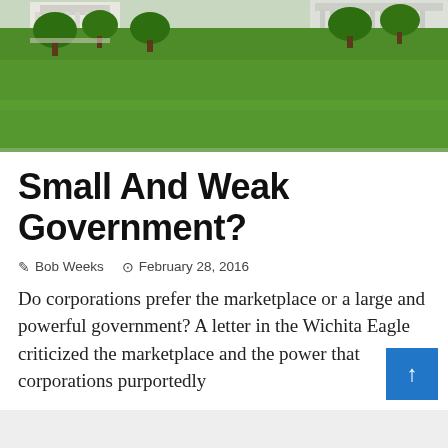[Figure (photo): Aerial/ground-level photo of a large green lawn with trees, and a white government building (Capitol-style) visible in the background.]
Small And Weak Government?
✎ Bob Weeks  🕐 February 28, 2016
Do corporations prefer the marketplace or a large and powerful government? A letter in the Wichita Eagle criticized the marketplace and the power that corporations purportedly ...